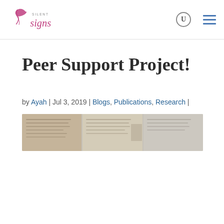Silent Signs — navigation header with logo, search icon, and menu icon
Peer Support Project!
by Ayah | Jul 3, 2019 | Blogs, Publications, Research |
[Figure (photo): Photograph of research posters or publication pages displayed on a wall, showing text documents in a light indoor setting]